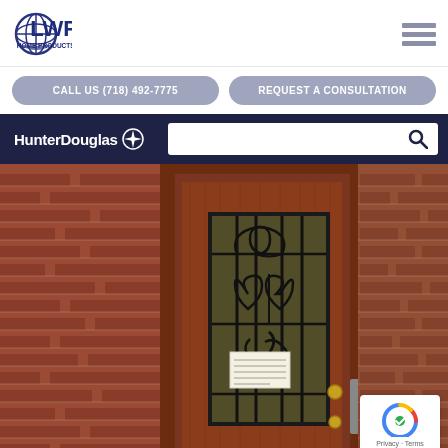[Figure (logo): LWP Home Products, Inc. logo with circular grid icon and blue text]
CALL US (718) 492-7775
REQUEST A CONSULTATION
[Figure (logo): HunterDouglas logo with compass star icon on dark navy background, with search bar]
[Figure (photo): Photograph of a residential front door — dark red wood door with ornate black wrought-iron security gate featuring scrollwork designs, set in a red brick wall, with a brass door handle.]